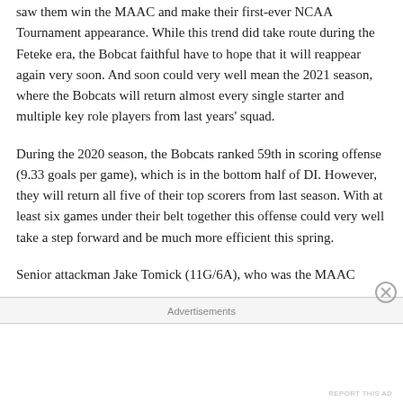saw them win the MAAC and make their first-ever NCAA Tournament appearance. While this trend did take route during the Feteke era, the Bobcat faithful have to hope that it will reappear again very soon. And soon could very well mean the 2021 season, where the Bobcats will return almost every single starter and multiple key role players from last years' squad.
During the 2020 season, the Bobcats ranked 59th in scoring offense (9.33 goals per game), which is in the bottom half of DI. However, they will return all five of their top scorers from last season. With at least six games under their belt together this offense could very well take a step forward and be much more efficient this spring.
Senior attackman Jake Tomick (11G/6A), who was the MAAC
Advertisements